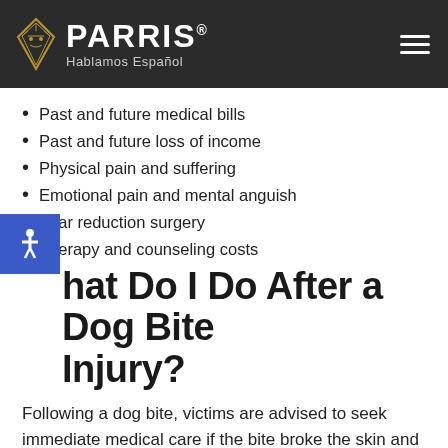[Figure (logo): PARRIS law firm logo with geometric lion diamond shape and text 'Hablamos Español' on dark background header with hamburger menu icon]
Past and future medical bills
Past and future loss of income
Physical pain and suffering
Emotional pain and mental anguish
Scar reduction surgery
Therapy and counseling costs
What Do I Do After a Dog Bite Injury?
Following a dog bite, victims are advised to seek immediate medical care if the bite broke the skin and caused bleeding. Other actions you should